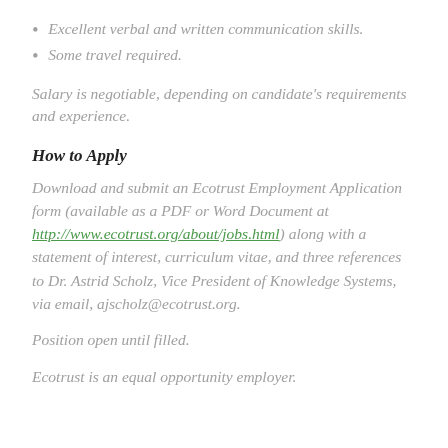Excellent verbal and written communication skills.
Some travel required.
Salary is negotiable, depending on candidate's requirements and experience.
How to Apply
Download and submit an Ecotrust Employment Application form (available as a PDF or Word Document at http://www.ecotrust.org/about/jobs.html) along with a statement of interest, curriculum vitae, and three references to Dr. Astrid Scholz, Vice President of Knowledge Systems, via email, ajscholz@ecotrust.org.
Position open until filled.
Ecotrust is an equal opportunity employer.